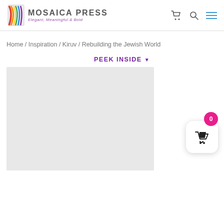Mosaica Press — Elegant, Meaningful & Bold
Home / Inspiration / Kiruv / Rebuilding the Jewish World
PEEK INSIDE ▼
[Figure (other): Light gray placeholder rectangle representing a book cover image preview area]